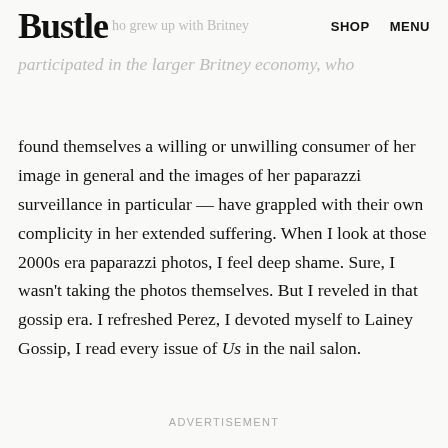Bustle | who grew up with Britney | SHOP | MENU
participated in the larger Britney economy, who found themselves a willing or unwilling consumer of her image in general and the images of her paparazzi surveillance in particular — have grappled with their own complicity in her extended suffering. When I look at those 2000s era paparazzi photos, I feel deep shame. Sure, I wasn't taking the photos themselves. But I reveled in that gossip era. I refreshed Perez, I devoted myself to Lainey Gossip, I read every issue of Us in the nail salon.
ADVERTISEMENT